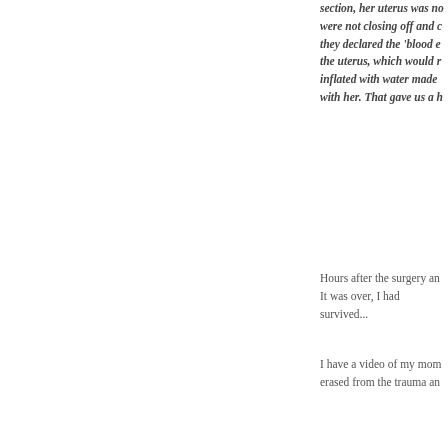section, her uterus was no... were not closing off and c... they declared the 'blood e... the uterus, which would r... inflated with water made ... with her. That gave us a h...
Hours after the surgery an... It was over, I had survived...
I have a video of my mom... erased from the trauma an...
The next 24 hours are very...
Shortly after I got out of s... was telling someone to ge... mean she was to everyone...
I heard and felt them poki... my questions. The head nu... were trying.
Somewhere in-between m... last time seeing them as fa...